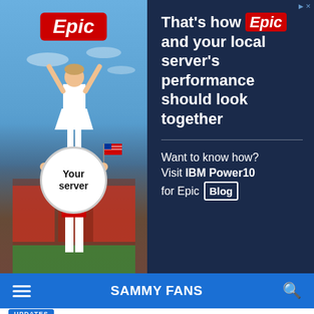[Figure (photo): Advertisement showing a cheerleader being held up by another person at a football stadium. The left panel has a photo of cheerleaders at a stadium with an American flag visible. An 'Epic' logo in red is shown at the top of the photo. A white circle with 'Your server' text is overlaid near the bottom of the photo.]
That's how Epic and your local server's performance should look together
Want to know how? Visit IBM Power10 for Epic Blog
SAMMY FANS
UPDATES